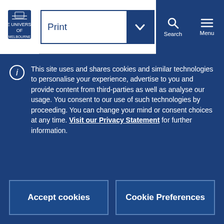Print [dropdown] Search Menu
Entry requirements including prerequisites may apply. Please refer to the CAP applications page for further information.
Available to Study Abroad and/or Study Exchange Students
This site uses and shares cookies and similar technologies to personalise your experience, advertise to you and provide content from third-parties as well as analyse our usage. You consent to our use of such technologies by proceeding. You can change your mind or consent choices at any time. Visit our Privacy Statement for further information.
Accept cookies | Cookie Preferences